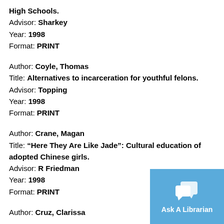High Schools.
Advisor: Sharkey
Year: 1998
Format: PRINT
Author: Coyle, Thomas
Title: Alternatives to incarceration for youthful felons.
Advisor: Topping
Year: 1998
Format: PRINT
Author: Crane, Magan
Title: “Here They Are Like Jade”: Cultural education of adopted Chinese girls.
Advisor: R Friedman
Year: 1998
Format: PRINT
Author: Cruz, Clarissa
[Figure (other): Ask A Librarian chat button widget with speech bubble icon on blue background]